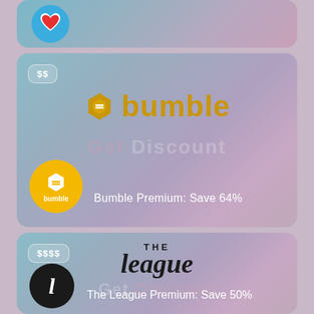[Figure (screenshot): Partial top card with blue/pink gradient background and a heart icon visible at top left]
[Figure (screenshot): Bumble dating app promotional card with gradient background, SS price badge, Bumble logo in gold, Get Discount watermark, Bumble app icon circle, and text 'Bumble Premium: Save 64%']
[Figure (screenshot): The League dating app promotional card with gradient background, SSSS price badge, The League logo in black serif, Get Discount watermark, The League app icon, and text 'The League Premium: Save 50%']